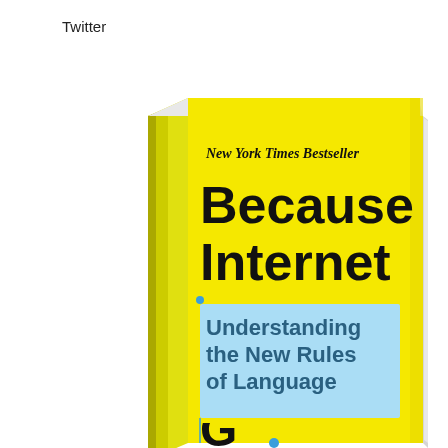Twitter
[Figure (photo): 3D book cover of 'Because Internet: Understanding the New Rules of Language' — a yellow hardcover book with black bold title text 'Because Internet' and a light blue highlighted subtitle 'Understanding the New Rules of Language'. The cover also shows 'New York Times Bestseller' in italic text near the top.]